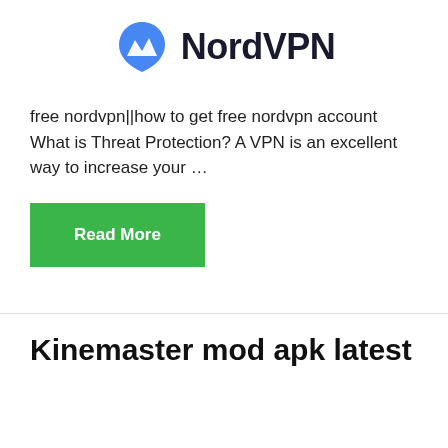[Figure (logo): NordVPN logo with blue mountain/shield icon and bold NordVPN text]
free nordvpn||how to get free nordvpn account What is Threat Protection? A VPN is an excellent way to increase your …
Read More
Kinemaster mod apk latest